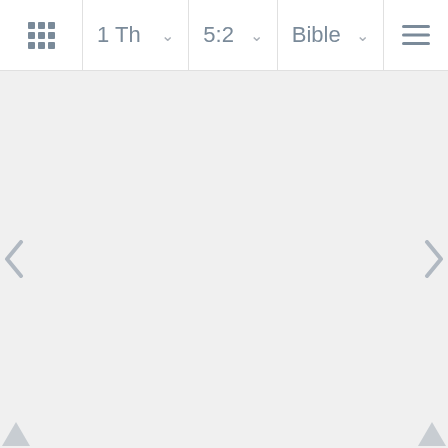1 Th  5:2  Bible
[Figure (screenshot): Bible app navigation interface showing a top bar with grid menu icon, book selector '1 Th', chapter:verse selector '5:2', translation selector 'Bible', and hamburger menu. Main content area is empty/light gray with left and right chevron navigation arrows on the sides and two upward-pointing triangle arrows at the bottom corners.]